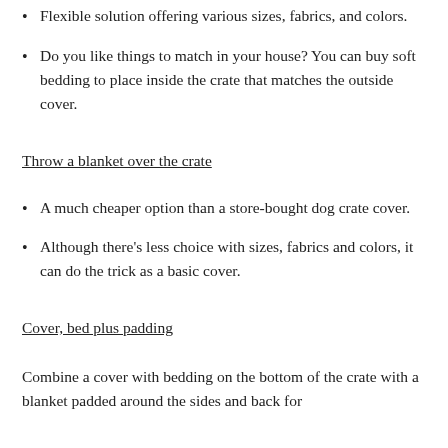Flexible solution offering various sizes, fabrics, and colors.
Do you like things to match in your house? You can buy soft bedding to place inside the crate that matches the outside cover.
Throw a blanket over the crate
A much cheaper option than a store-bought dog crate cover.
Although there’s less choice with sizes, fabrics and colors, it can do the trick as a basic cover.
Cover, bed plus padding
Combine a cover with bedding on the bottom of the crate with a blanket padded around the sides and back for